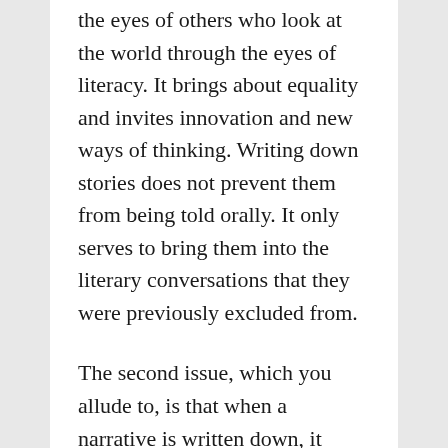the eyes of others who look at the world through the eyes of literacy. It brings about equality and invites innovation and new ways of thinking. Writing down stories does not prevent them from being told orally. It only serves to bring them into the literary conversations that they were previously excluded from.
The second issue, which you allude to, is that when a narrative is written down, it changes. The story is locked in time and is no longer allowed to shift and change as narratives naturally do when they are told out loud. On the other hand, when the story is written down, it is more likely to become a part of the kinds of discussions